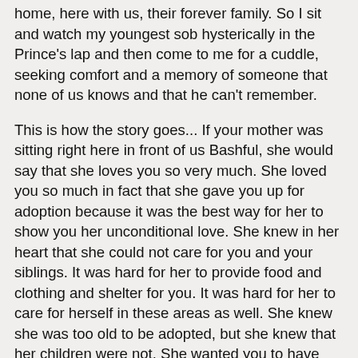home, here with us, their forever family. So I sit and watch my youngest sob hysterically in the Prince's lap and then come to me for a cuddle, seeking comfort and a memory of someone that none of us knows and that he can't remember.
This is how the story goes... If your mother was sitting right here in front of us Bashful, she would say that she loves you so very much. She loved you so much in fact that she gave you up for adoption because it was the best way for her to show you her unconditional love. She knew in her heart that she could not care for you and your siblings. It was hard for her to provide food and clothing and shelter for you. It was hard for her to care for herself in these areas as well. She knew she was too old to be adopted, but she knew that her children were not. She wanted you to have everything that she could not provide for you. A home, with toys, and running water, and food. A place that you were safe from harm of people, diseases and pain. She wanted you to be clean, and well fed. She wanted you to be able to go to the doctors if you needed to, to go to school and learn and grow your mind. She wanted you to be surrounded by people that made you their priority, not an after thought. She loved you so much that she gave you up for adoption.